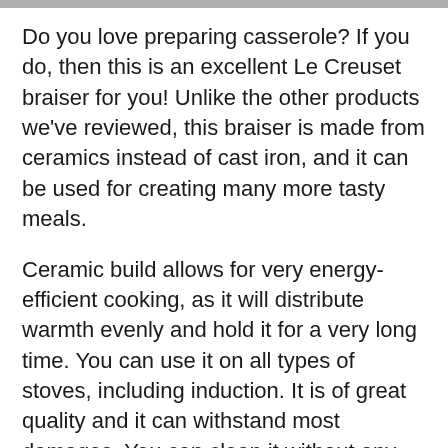Do you love preparing casserole? If you do, then this is an excellent Le Creuset braiser for you! Unlike the other products we've reviewed, this braiser is made from ceramics instead of cast iron, and it can be used for creating many more tasty meals.
Ceramic build allows for very energy-efficient cooking, as it will distribute warmth evenly and hold it for a very long time. You can use it on all types of stoves, including induction. It is of great quality and it can withstand most damages. You can clean it without any issues – just make sure you've cooled it down a bit before washing it [scroll button] h cold water. Otherwise, you're risking cracking the